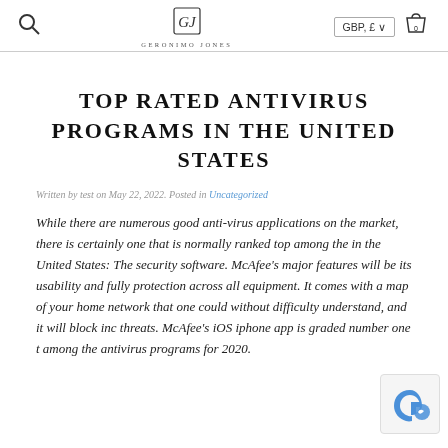GERONIMO JONES — GBP, £ — cart 0
TOP RATED ANTIVIRUS PROGRAMS IN THE UNITED STATES
Written by test on May 22, 2022. Posted in Uncategorized
While there are numerous good anti-virus applications on the market, there is certainly one that is normally ranked top among the in the United States: The security software. McAfee's major features will be its usability and fully protection across all equipment. It comes with a map of your home network that one could without difficulty understand, and it will block inc threats. McAfee's iOS iphone app is graded number one t among the antivirus programs for 2020.